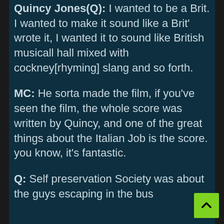Quincy Jones(Q): I wanted to be a Brit. I wanted to make it sound like a Brit' wrote it, I wanted it to sound like British musicall hall mixed with cockney[rhyming] slang and so forth.
MC: He sorta made the film, if you've seen the film, the whole score was written by Quincy, and one of the great things about the Italian Job is the score. you know, it's fantastic.
Q: Self preservation Society was about the guys escaping in the bus